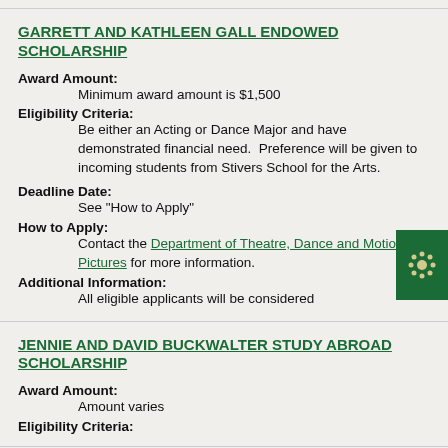GARRETT AND KATHLEEN GALL ENDOWED SCHOLARSHIP
Award Amount: Minimum award amount is $1,500
Eligibility Criteria: Be either an Acting or Dance Major and have demonstrated financial need. Preference will be given to incoming students from Stivers School for the Arts.
Deadline Date: See "How to Apply"
How to Apply: Contact the Department of Theatre, Dance and Motion Pictures for more information.
Additional Information: All eligible applicants will be considered
JENNIE AND DAVID BUCKWALTER STUDY ABROAD SCHOLARSHIP
Award Amount: Amount varies
Eligibility Criteria: